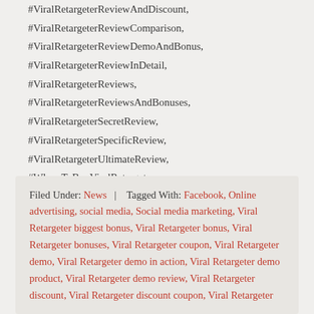#ViralRetargeterReviewAndDiscount,
#ViralRetargeterReviewComparison,
#ViralRetargeterReviewDemoAndBonus,
#ViralRetargeterReviewInDetail,
#ViralRetargeterReviews,
#ViralRetargeterReviewsAndBonuses,
#ViralRetargeterSecretReview,
#ViralRetargeterSpecificReview,
#ViralRetargeterUltimateReview,
#WhereToBuyViralRetargeter
Filed Under: News | Tagged With: Facebook, Online advertising, social media, Social media marketing, Viral Retargeter biggest bonus, Viral Retargeter bonus, Viral Retargeter bonuses, Viral Retargeter coupon, Viral Retargeter demo, Viral Retargeter demo in action, Viral Retargeter demo product, Viral Retargeter demo review, Viral Retargeter discount, Viral Retargeter discount coupon, Viral Retargeter